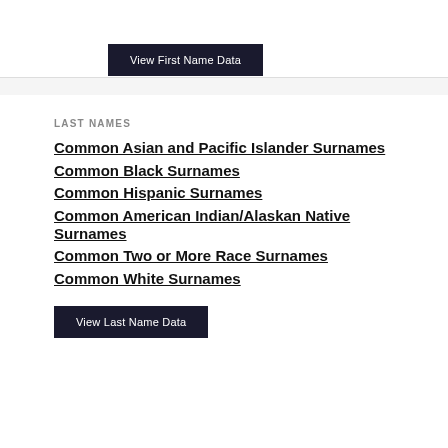View First Name Data
LAST NAMES
Common Asian and Pacific Islander Surnames
Common Black Surnames
Common Hispanic Surnames
Common American Indian/Alaskan Native Surnames
Common Two or More Race Surnames
Common White Surnames
View Last Name Data